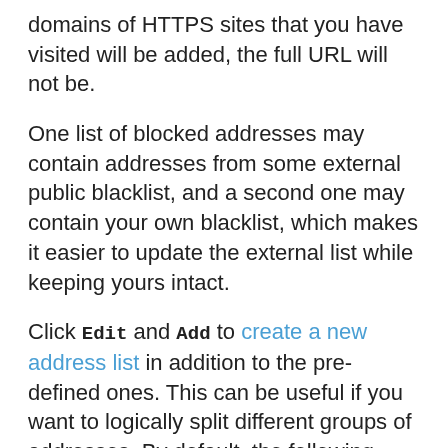domains of HTTPS sites that you have visited will be added, the full URL will not be.
One list of blocked addresses may contain addresses from some external public blacklist, and a second one may contain your own blacklist, which makes it easier to update the external list while keeping yours intact.
Click Edit and Add to create a new address list in addition to the pre-defined ones. This can be useful if you want to logically split different groups of addresses. By default, the following three lists are available:
List of addresses excluded from checking - No